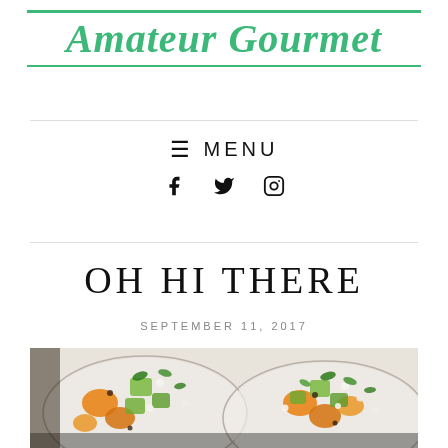Amateur Gourmet
≡ MENU
f  Twitter  Instagram (social icons)
OH HI THERE
SEPTEMBER 11, 2017
[Figure (photo): Two plates of salad with orange segments, green chunks, crumbled white cheese (feta), herbs, and dark garnish on a light background]